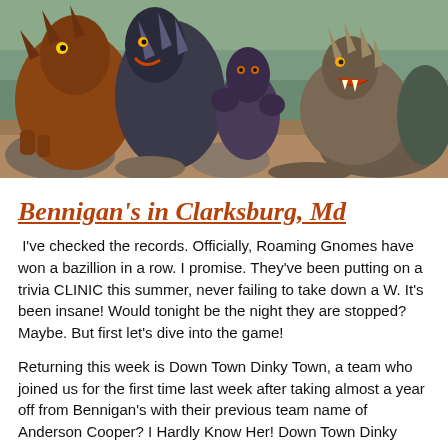[Figure (photo): Photo of multiple Godzilla-style monster figures/models posed in a scene, including what appears to be Godzilla, King Kong, and other kaiju creatures on rocky terrain with greenery in the background.]
Bennigan's in Clarksburg, Md
I've checked the records. Officially, Roaming Gnomes have won a bazillion in a row. I promise. They've been putting on a trivia CLINIC this summer, never failing to take down a W. It's been insane! Would tonight be the night they are stopped? Maybe. But first let's dive into the game!
Returning this week is Down Town Dinky Town, a team who joined us for the first time last week after taking almost a year off from Bennigan's with their previous team name of Anderson Cooper? I Hardly Know Her! Down Town Dinky Town is legit af. They crushed the first half, held the lead at halftime, and carried